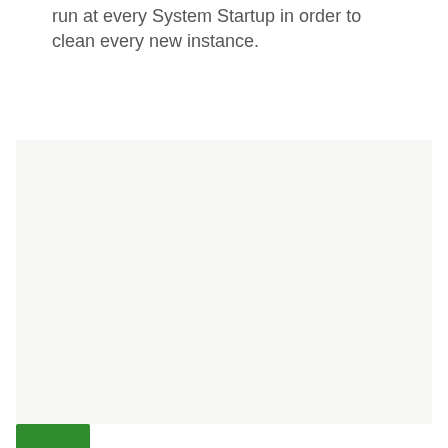run at every System Startup in order to clean every new instance.
[Figure (screenshot): A large light gray/off-white empty panel or screenshot area, with a green button or bar visible at the bottom-left corner.]